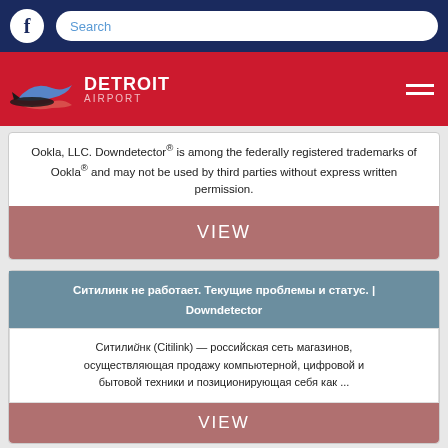[Figure (screenshot): Detroit Airport website header with Facebook icon and search bar on dark blue nav, and Detroit Airport logo on red bar with hamburger menu]
Ookla, LLC. Downdetector® is among the federally registered trademarks of Ookla® and may not be used by third parties without express written permission.
VIEW
Ситилинк не работает. Текущие проблемы и статус. | Downdetector
Ситилйнк (Citilink) — российская сеть магазинов, осуществляющая продажу компьютерной, цифровой и бытовой техники и позиционирующая себя как ...
VIEW